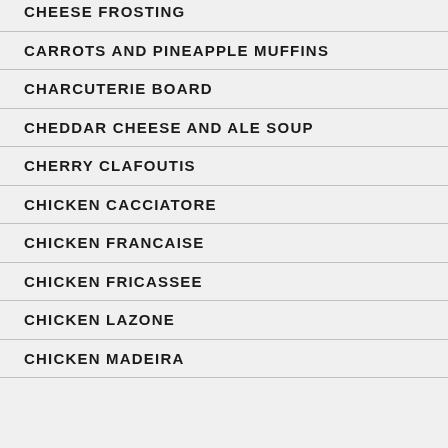CHEESE FROSTING
CARROTS AND PINEAPPLE MUFFINS
CHARCUTERIE BOARD
CHEDDAR CHEESE AND ALE SOUP
CHERRY CLAFOUTIS
CHICKEN CACCIATORE
CHICKEN FRANCAISE
CHICKEN FRICASSEE
CHICKEN LAZONE
CHICKEN MADEIRA